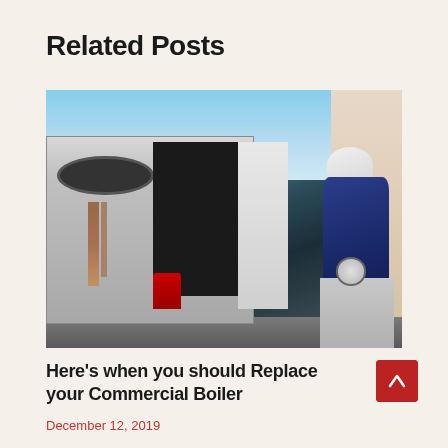Related Posts
[Figure (photo): A technician wearing a white hard hat and navy blue jacket crouching next to a large commercial HVAC unit on a rooftop. The unit shows rust streaks on its white panels and has a dark mesh fan grill on top. The technician is holding pressure gauges and appears to be servicing the unit. Blue sky with clouds visible in background.]
Here's when you should Replace your Commercial Boiler
December 12, 2019